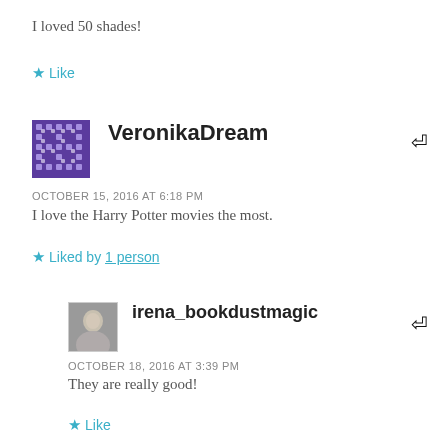I loved 50 shades!
★ Like
VeronikaDream
OCTOBER 15, 2016 AT 6:18 PM
I love the Harry Potter movies the most.
★ Liked by 1 person
irena_bookdustmagic
OCTOBER 18, 2016 AT 3:39 PM
They are really good!
★ Like